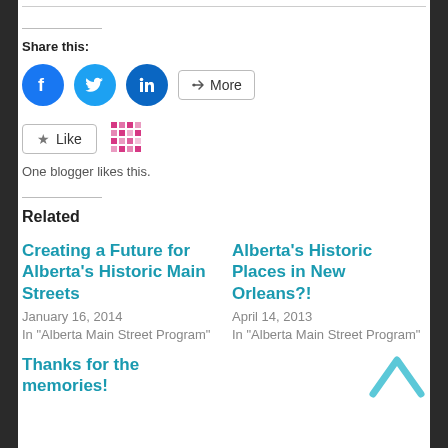Share this:
[Figure (infographic): Social share buttons: Facebook (blue circle), Twitter (light blue circle), LinkedIn (dark blue circle), and a More button with share icon]
[Figure (infographic): Like button with star icon and a mosaic/avatar icon next to it. Text reads: One blogger likes this.]
One blogger likes this.
Related
Creating a Future for Alberta's Historic Main Streets
January 16, 2014
In "Alberta Main Street Program"
Alberta's Historic Places in New Orleans?!
April 14, 2013
In "Alberta Main Street Program"
Thanks for the memories!